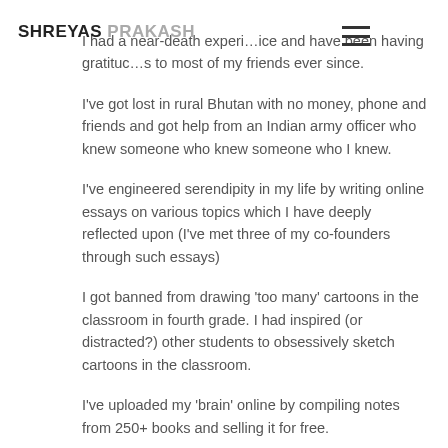SHREYAS PRAKASH
I had a near-death experi…ice and have been having gratituc…s to most of my friends ever since.
I've got lost in rural Bhutan with no money, phone and friends and got help from an Indian army officer who knew someone who knew someone who I knew.
I've engineered serendipity in my life by writing online essays on various topics which I have deeply reflected upon (I've met three of my co-founders through such essays)
I got banned from drawing 'too many' cartoons in the classroom in fourth grade. I had inspired (or distracted?) other students to obsessively sketch cartoons in the classroom.
I've uploaded my 'brain' online by compiling notes from 250+ books and selling it for free.